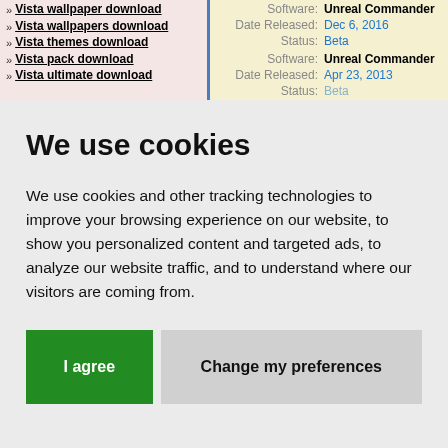» Vista wallpaper download
» Vista wallpapers download
» Vista themes download
» Vista pack download
» Vista ultimate download
Software: Unreal Commander | Date Released: Dec 6, 2016 | Status: Beta
Software: Unreal Commander | Date Released: Apr 23, 2013 | Status: Beta
We use cookies
We use cookies and other tracking technologies to improve your browsing experience on our website, to show you personalized content and targeted ads, to analyze our website traffic, and to understand where our visitors are coming from.
I agree | Change my preferences